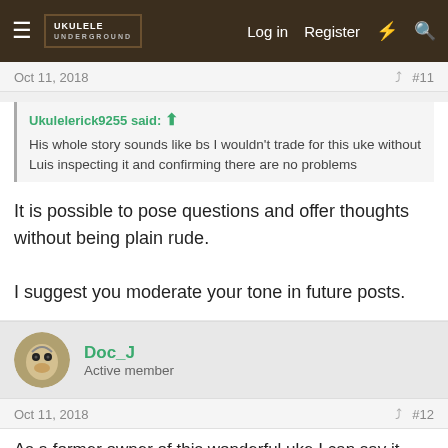Ukulele Underground — Log in | Register
Oct 11, 2018   #11
Ukulelerick9255 said: His whole story sounds like bs I wouldn't trade for this uke without Luis inspecting it and confirming there are no problems
It is possible to pose questions and offer thoughts without being plain rude.

I suggest you moderate your tone in future posts.
Doc_J
Active member
Oct 11, 2018   #12
As a former owner of this wonderful uke I can say it was just as described with no hidden issues. It is a genuine LFdM that